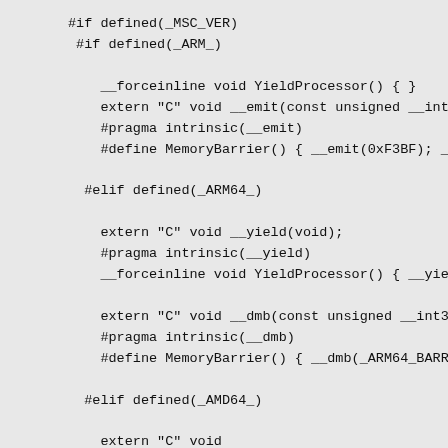#if defined(_MSC_VER)
 #if defined(_ARM_)

    __forceinline void YieldProcessor() { }
    extern "C" void __emit(const unsigned __int32
    #pragma intrinsic(__emit)
    #define MemoryBarrier() { __emit(0xF3BF); __e

  #elif defined(_ARM64_)

    extern "C" void __yield(void);
    #pragma intrinsic(__yield)
    __forceinline void YieldProcessor() { __yield

    extern "C" void __dmb(const unsigned __int32
    #pragma intrinsic(__dmb)
    #define MemoryBarrier() { __dmb(_ARM64_BARRIE

  #elif defined(_AMD64_)

    extern "C" void
    _mm_pause (
        void
        );

    extern "C" void